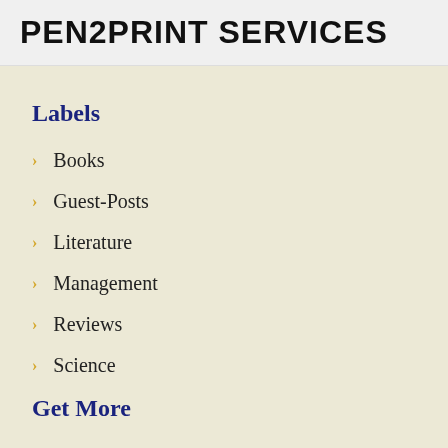PEN2PRINT SERVICES
Labels
Books
Guest-Posts
Literature
Management
Reviews
Science
Get More